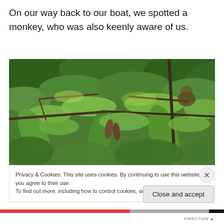On our way back to our boat, we spotted a monkey, who was also keenly aware of us.
[Figure (photo): Close-up photo of dense green tree branches and leaves with a monkey partially visible among the foliage]
Privacy & Cookies: This site uses cookies. By continuing to use this website, you agree to their use.
To find out more, including how to control cookies, see here: Cookie Policy
Close and accept